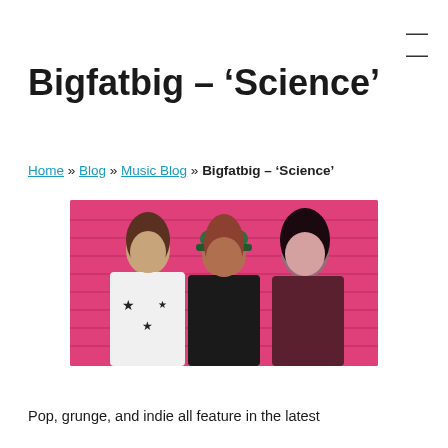≡
Bigfatbig – ‘Science’
Home » Blog » Music Blog » Bigfatbig – ‘Science’
[Figure (photo): Three young women standing against a bright pink brick wall. Left: woman in white star-print jacket. Center: woman in green cap and black dungarees. Right: woman in dark red top.]
Pop, grunge, and indie all feature in the latest